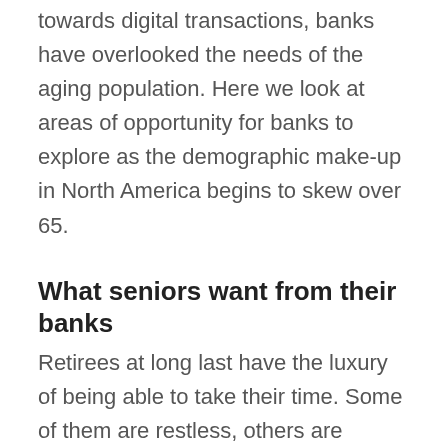towards digital transactions, banks have overlooked the needs of the aging population. Here we look at areas of opportunity for banks to explore as the demographic make-up in North America begins to skew over 65.
What seniors want from their banks
Retirees at long last have the luxury of being able to take their time. Some of them are restless, others are invigorated,